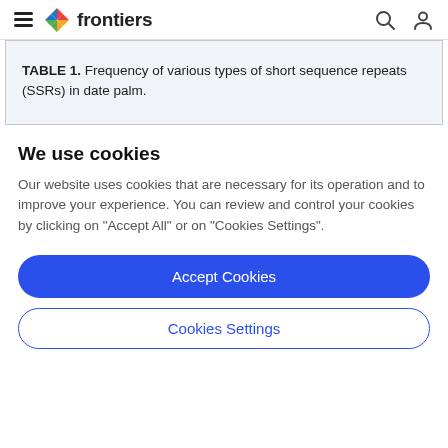frontiers
TABLE 1. Frequency of various types of short sequence repeats (SSRs) in date palm.
We use cookies
Our website uses cookies that are necessary for its operation and to improve your experience. You can review and control your cookies by clicking on "Accept All" or on "Cookies Settings".
Accept Cookies
Cookies Settings